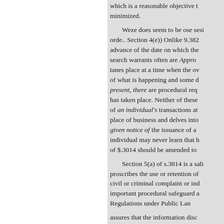which is a reasonable objective that should be minimized.
Weze does seem to be ose sesi orde.. Section 4(e)) Onlike 9.382 advance of the date on which the search warrants often are Appro tanes place at a time when the ov of what is happening and some d present, there are procedural req has taken place. Neither of these of an individual's transactions at place of business and delves into given notice of the issuance of a individual may never learn that h of $.3014 should be amended to
Section 5(a) of s.3814 is a sali proscribes the use or retention of civil or criminal complaint or ind important procedural safeguard a Regulations under Public Lan
assures that the information disc expunged with reasonable